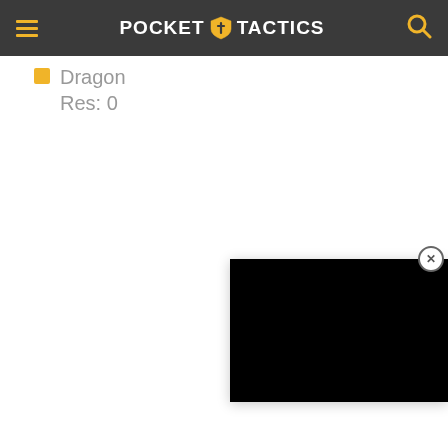Pocket Tactics
Dragon
Res: 0
[Figure (screenshot): Black advertisement overlay panel with a close (X) button in the top-right corner, positioned in the lower-right area of the page.]